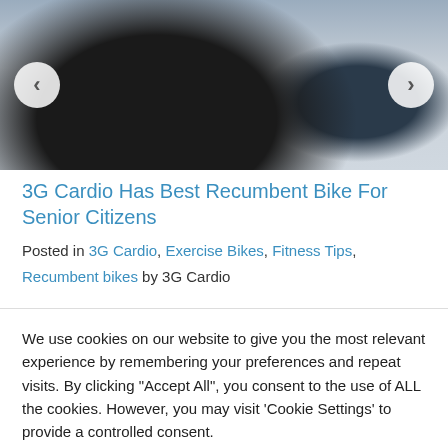[Figure (photo): A recumbent exercise bike (black) shown against a light background, with carousel navigation arrows on left and right sides.]
3G Cardio Has Best Recumbent Bike For Senior Citizens
Posted in 3G Cardio, Exercise Bikes, Fitness Tips, Recumbent bikes by 3G Cardio
We use cookies on our website to give you the most relevant experience by remembering your preferences and repeat visits. By clicking "Accept All", you consent to the use of ALL the cookies. However, you may visit 'Cookie Settings' to provide a controlled consent.